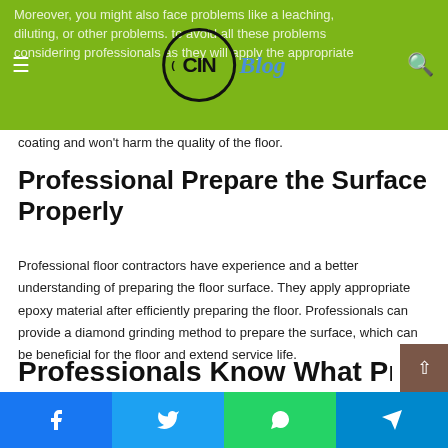CIN Blog – website navigation header with logo, hamburger menu, and search icon
Moreover, you might also face problems like a leaching, diluting, or other problems. to avoid all these problems considering professionals as they will apply the appropriate coating and won't harm the quality of the floor.
Professional Prepare the Surface Properly
Professional floor contractors have experience and a better understanding of preparing the floor surface. They apply appropriate epoxy material after efficiently preparing the floor. Professionals can provide a diamond grinding method to prepare the surface, which can be beneficial for the floor and extend service life.
Professionals Know What Products